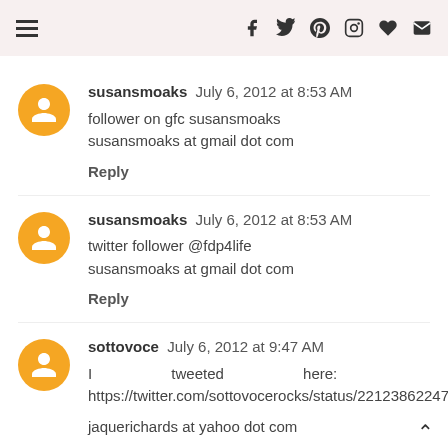Navigation bar with hamburger menu and social icons (facebook, twitter, pinterest, instagram, heart, email)
susansmoaks  July 6, 2012 at 8:53 AM
follower on gfc susansmoaks
susansmoaks at gmail dot com
Reply
susansmoaks  July 6, 2012 at 8:53 AM
twitter follower @fdp4life
susansmoaks at gmail dot com
Reply
sottovoce  July 6, 2012 at 9:47 AM
I tweeted here: https://twitter.com/sottovocerocks/status/221238622479859715
jaquerichards at yahoo dot com